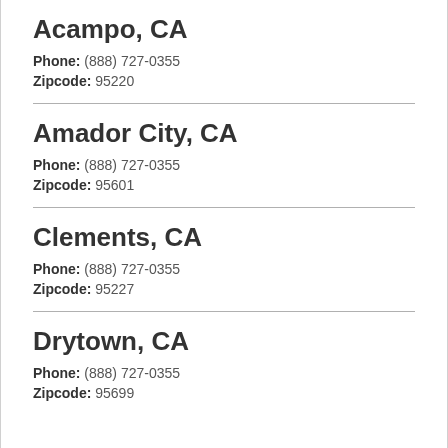Acampo, CA
Phone: (888) 727-0355
Zipcode: 95220
Amador City, CA
Phone: (888) 727-0355
Zipcode: 95601
Clements, CA
Phone: (888) 727-0355
Zipcode: 95227
Drytown, CA
Phone: (888) 727-0355
Zipcode: 95699